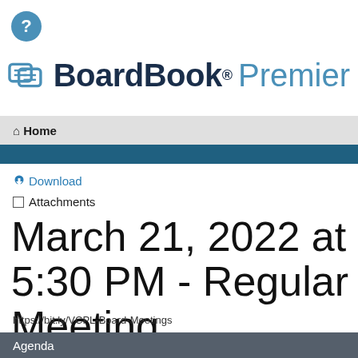[Figure (logo): BoardBook Premier logo with teal icon and text]
Home
Download
Attachments
March 21, 2022 at 5:30 PM - Regular Meeting
https://bit.ly/VCPL-Board-Meetings
Agenda